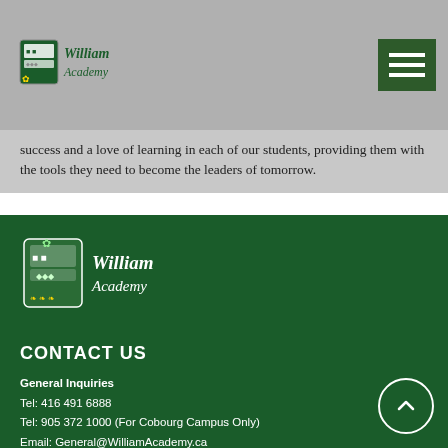[Figure (logo): William Academy logo with shield crest and text in header]
success and a love of learning in each of our students, providing them with the tools they need to become the leaders of tomorrow.
[Figure (logo): William Academy logo with shield crest and text in footer]
CONTACT US
General Inquiries
Tel: 416 491 6888
Tel: 905 372 1000 (For Cobourg Campus Only)
Email: General@WilliamAcademy.ca